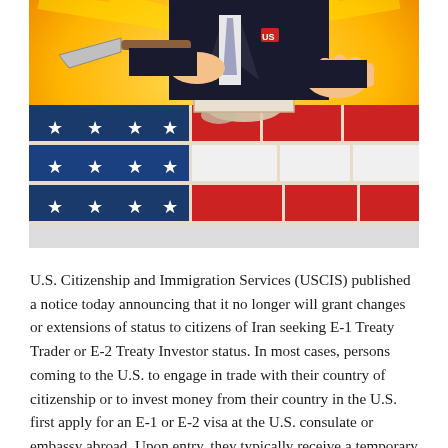[Figure (illustration): Pop-art style illustration of a businessman in a suit laying bricks in a wall patterned like the American flag (red, white, and blue sections with white stars), applying mortar with a trowel.]
U.S. Citizenship and Immigration Services (USCIS) published a notice today announcing that it no longer will grant changes or extensions of status to citizens of Iran seeking E-1 Treaty Trader or E-2 Treaty Investor status. In most cases, persons coming to the U.S. to engage in trade with their country of citizenship or to invest money from their country in the U.S. first apply for an E-1 or E-2 visa at the U.S. consulate or embassy abroad. Upon entry, they typically receive a temporary period of stay. If